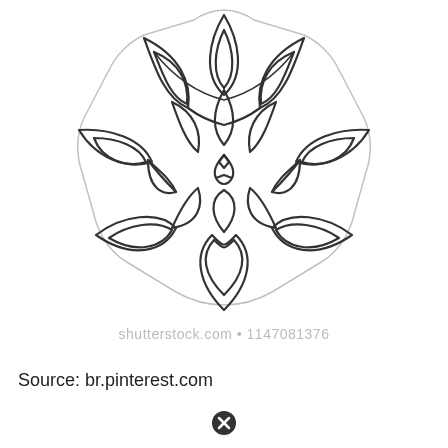[Figure (illustration): Black and white mandala / flower pattern line art drawing with symmetric petals and leaf shapes arranged in a circular pattern. Coloring book style outline illustration.]
shutterstock.com • 1147081376
Source: br.pinterest.com
[Figure (other): Black circle with white X icon (close/cancel button symbol)]